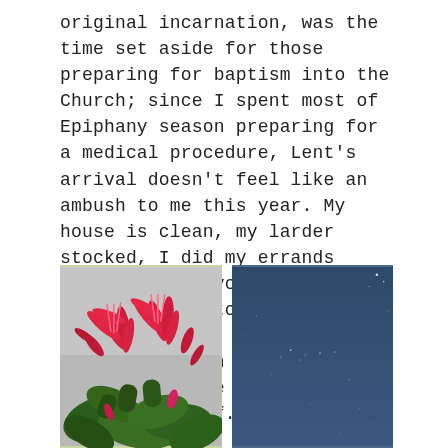original incarnation, was the time set aside for those preparing for baptism into the Church; since I spent most of Epiphany season preparing for a medical procedure, Lent’s arrival doesn’t feel like an ambush to me this year. My house is clean, my larder stocked, I did my errands (carefully), avoided covid exposure, and took lots of “prehab” walks. Now the procedure is in the rearview and so far, the prep work has been paying off.
[Figure (photo): Close-up photograph of a Christmas cactus with bright red/pink flowers and green succulent leaves against a grey background]
[Figure (photo): Night sky photograph showing a dark blue sky with faint stars visible]